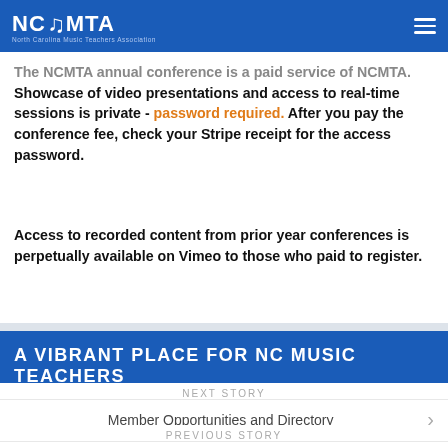NCMTA
The NCMTA annual conference is a paid service of NCMTA. Showcase of video presentations and access to real-time sessions is private - password required. After you pay the conference fee, check your Stripe receipt for the access password.
Access to recorded content from prior year conferences is perpetually available on Vimeo to those who paid to register.
A VIBRANT PLACE FOR NC MUSIC TEACHERS
NEXT STORY
Member Opportunities and Directory
PREVIOUS STORY
MTNA Conferences, Contests, Competitions and Festivals